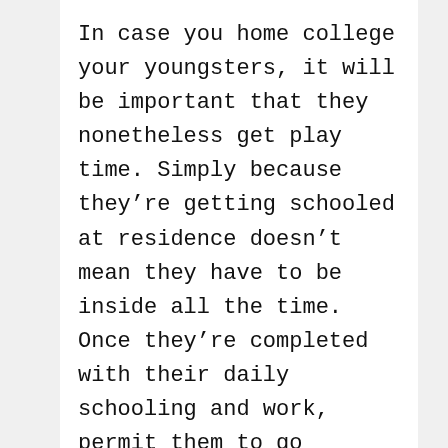In case you home college your youngsters, it will be important that they nonetheless get play time. Simply because they're getting schooled at residence doesn't mean they have to be inside all the time. Once they're completed with their daily schooling and work, permit them to go exterior and play for a little while.
Teach your kids the way to comply with instructions by giving them a recipe which matches their capabilities and